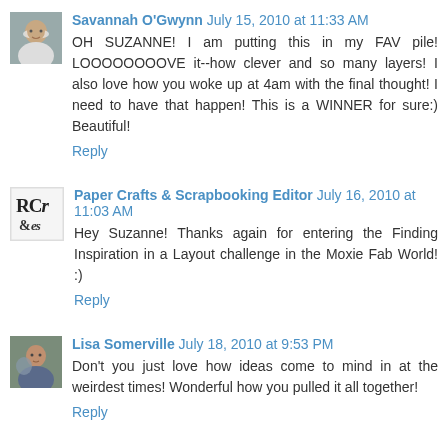[Figure (photo): Avatar photo of Savannah O'Gwynn, person wearing white scarf]
Savannah O'Gwynn July 15, 2010 at 11:33 AM
OH SUZANNE! I am putting this in my FAV pile! LOOOOOOOOVE it--how clever and so many layers! I also love how you woke up at 4am with the final thought! I need to have that happen! This is a WINNER for sure:) Beautiful!
Reply
[Figure (logo): RCr &s logo for Paper Crafts & Scrapbooking Editor]
Paper Crafts & Scrapbooking Editor July 16, 2010 at 11:03 AM
Hey Suzanne! Thanks again for entering the Finding Inspiration in a Layout challenge in the Moxie Fab World! :)
Reply
[Figure (photo): Avatar photo of Lisa Somerville, person outdoors]
Lisa Somerville July 18, 2010 at 9:53 PM
Don't you just love how ideas come to mind in at the weirdest times! Wonderful how you pulled it all together!
Reply